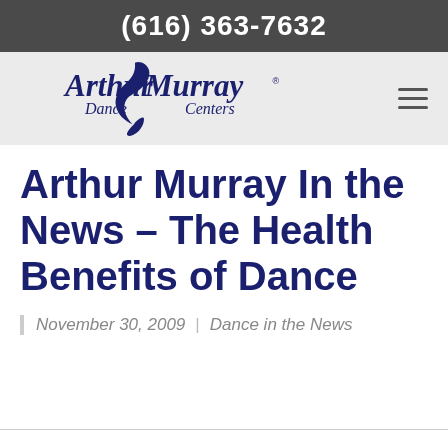(616) 363-7632
[Figure (logo): Arthur Murray Dance Centers logo with stylized dancer silhouette in dark navy blue, accompanied by a hamburger menu icon]
Arthur Murray In the News – The Health Benefits of Dance
November 30, 2009 | Dance in the News